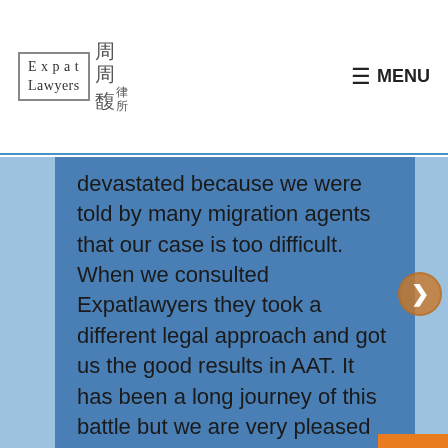Expat Lawyers [logo with Chinese characters] MENU
devastated because we were told by many migration agents that our case is too difficult. When we consulted Expatlawyers they took a different legal approach and got us the good results in AAT. It has been a long journey of this battle but we are very pleased about the help from Expatlawyers. We must say that they are very professional with